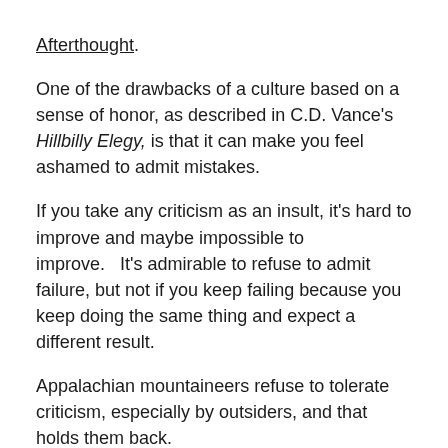Afterthought.
One of the drawbacks of a culture based on a sense of honor, as described in C.D. Vance’s Hillbilly Elegy, is that it can make you feel ashamed to admit mistakes.
If you take any criticism as an insult, it’s hard to improve and maybe impossible to improve.   It’s admirable to refuse to admit failure, but not if you keep failing because you keep doing the same thing and expect a different result.
Appalachian mountaineers refuse to tolerate criticism, especially by outsiders, and that holds them back.
One of the admirable things about the Silicon Valley culture is that entrepreneurs there celebrate the